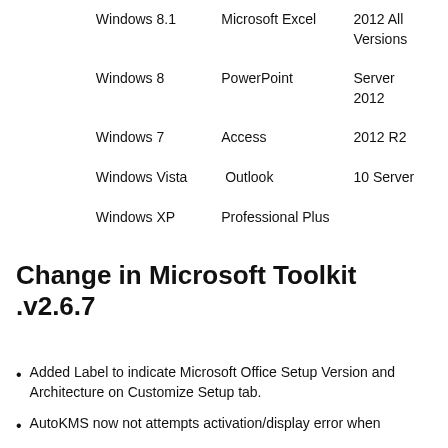|  | Windows 8.1 | Microsoft Excel | 2012 All Versions |
| --- | --- | --- | --- |
|  | Windows 8 | PowerPoint | Server 2012 |
|  | Windows 7 | Access | 2012 R2 |
|  | Windows Vista | Outlook | 10 Server |
|  | Windows XP | Professional Plus |  |
Change in Microsoft Toolkit .v2.6.7
Added Label to indicate Microsoft Office Setup Version and Architecture on Customize Setup tab.
AutoKMS now not attempts activation/display error when